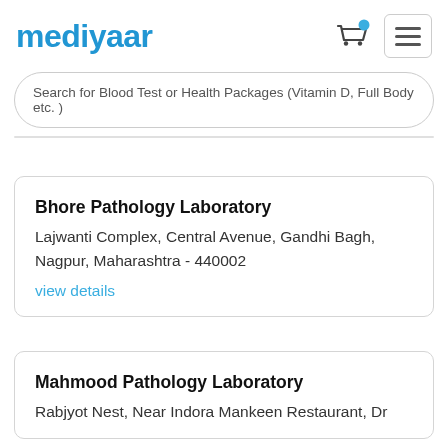mediyaar
Search for Blood Test or Health Packages (Vitamin D, Full Body etc. )
Bhore Pathology Laboratory
Lajwanti Complex, Central Avenue, Gandhi Bagh, Nagpur, Maharashtra - 440002
view details
Mahmood Pathology Laboratory
Rabjyot Nest, Near Indora Mankeen Restaurant, Dr